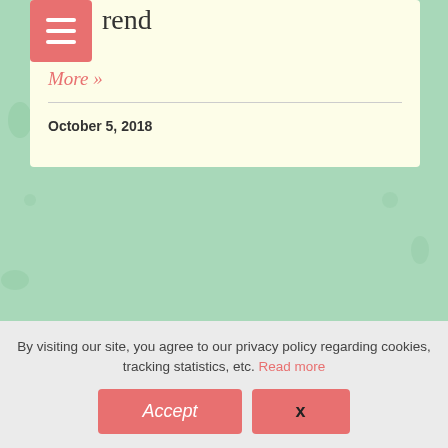rend
More »
October 5, 2018
Sports Themed Fairy Garden
Fairies have gone back to school this Fall and that means they've also gone back to regularly participating in sports activities. Like us, fairies enjoy
By visiting our site, you agree to our privacy policy regarding cookies, tracking statistics, etc. Read more
Accept
x